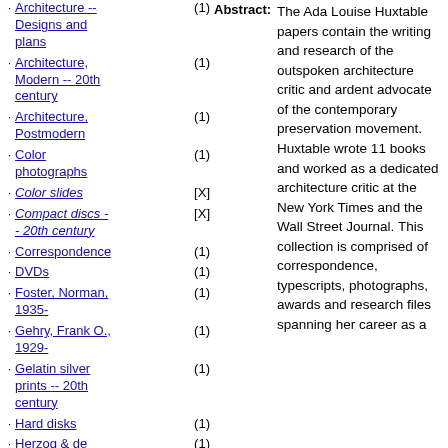Architecture -- Designs and plans (1)
Architecture, Modern -- 20th century (1)
Architecture, Postmodern (1)
Color photographs (1)
Color slides [X]
Compact discs -- 20th century [X]
Correspondence (1)
DVDs (1)
Foster, Norman, 1935- (1)
Gehry, Frank O., 1929- (1)
Gelatin silver prints -- 20th century (1)
Hard disks (1)
Herzog & de Meuron (1)
Huxtable, Ada Louise (1)
Abstract: The Ada Louise Huxtable papers contain the writing and research of the outspoken architecture critic and ardent advocate of the contemporary preservation movement. Huxtable wrote 11 books and worked as a dedicated architecture critic at the New York Times and the Wall Street Journal. This collection is comprised of correspondence, typescripts, photographs, awards and research files spanning her career as a